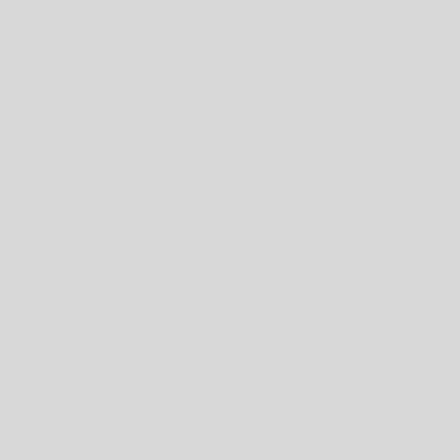In an April 2, 2009 article, retired U.S. Nav sun has gone very quiet as it transitions to lie before us. Both are marked with a sign solar storms. Down the other path lies sev famine. "A quiet sun will cause temperatu temperatures that we have not seen in ove
Source Link: examiner.com
THIS ARTICLE CONTINUES
Tweet Article   Post to Facebook
OPINION   PIERS CORBYN   UPDATED
Solar Cycle 25 to end "Man Made Cli Corbyn
Thursday, May 21st 2009, 9:25 AM UTC
There have been various emergency econ save Mankind from an overheating Earth, apparently warming the planet, namely CO industrial output, by using less of this very more dramatic accounting method to shar those who "have not". The economic cost outcome, as doing "something" to save Ma doing "nothing".
It all sounds a fantastic idea to save the hu ideological panacea. This is all designed t climate to such an extent that unless the H There is another way to look at this situati